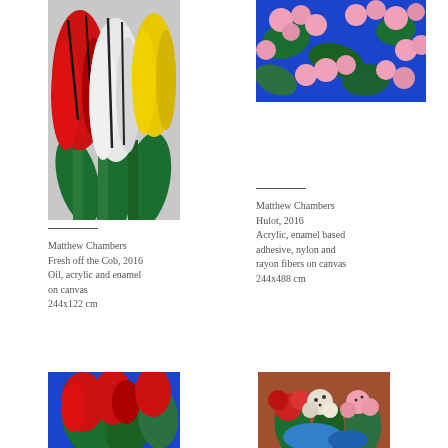[Figure (illustration): Painting of red, white and yellow tulips with green stems on grey background]
[Figure (illustration): Painting of pink floral pattern on blue background]
Matthew Chambers
Fresh off the Cob, 2016
Oil, acrylic and enamel on canvas
244x122 cm
Matthew Chambers
Hulot, 2016
Acrylic, enamel based adhesive, nylon and rayon fibers on canvas
244x488 cm
[Figure (illustration): Painting of red flowers on blue background]
[Figure (illustration): Painting of colorful flowers on brown/terracotta background]